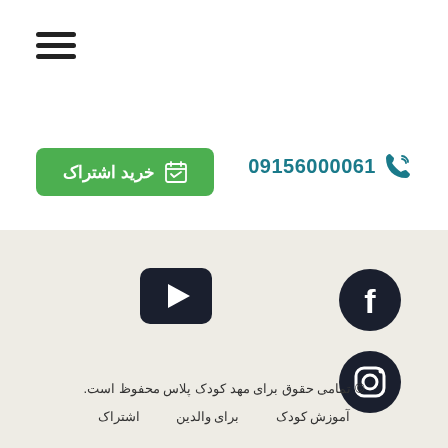[Figure (other): Hamburger menu icon (three horizontal lines)]
خرید اشتراک
09156000061
[Figure (other): Facebook icon circle]
[Figure (other): YouTube play button icon]
[Figure (other): Instagram icon circle]
© تمامی حقوق برای مهد کودک پلاس محفوظ است.
آموزش کودک    برای والدین    اشتراک